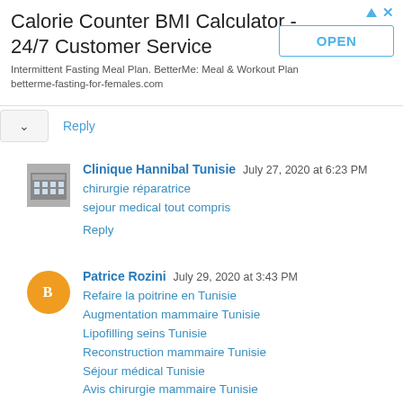[Figure (screenshot): Advertisement banner for Calorie Counter BMI Calculator with OPEN button]
Calorie Counter BMI Calculator - 24/7 Customer Service
Intermittent Fasting Meal Plan. BetterMe: Meal & Workout Plan betterme-fasting-for-females.com
Reply
Clinique Hannibal Tunisie  July 27, 2020 at 6:23 PM
chirurgie réparatrice
sejour medical tout compris
Reply
Patrice Rozini  July 29, 2020 at 3:43 PM
Refaire la poitrine en Tunisie
Augmentation mammaire Tunisie
Lipofilling seins Tunisie
Reconstruction mammaire Tunisie
Séjour médical Tunisie
Avis chirurgie mammaire Tunisie
Reply